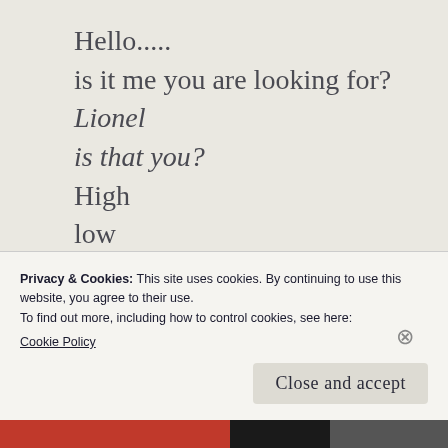Hello.....
is it me you are looking for?
Lionel
is that you?
High
low
searching
wondering
can I?
will I?.....
Privacy & Cookies: This site uses cookies. By continuing to use this website, you agree to their use.
To find out more, including how to control cookies, see here:
Cookie Policy
Close and accept